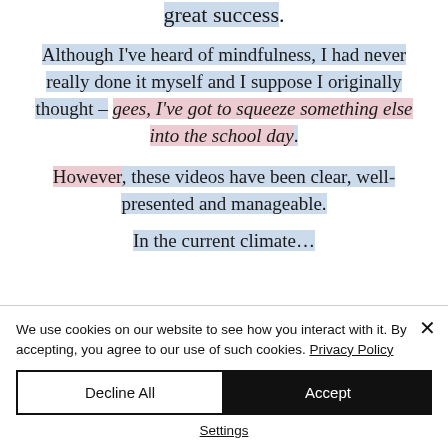great success.
Although I've heard of mindfulness, I had never really done it myself and I suppose I originally thought – gees, I've got to squeeze something else into the school day.
However, these videos have been clear, well-presented and manageable.
In the current climate…
We use cookies on our website to see how you interact with it. By accepting, you agree to our use of such cookies. Privacy Policy
Decline All
Accept
Settings